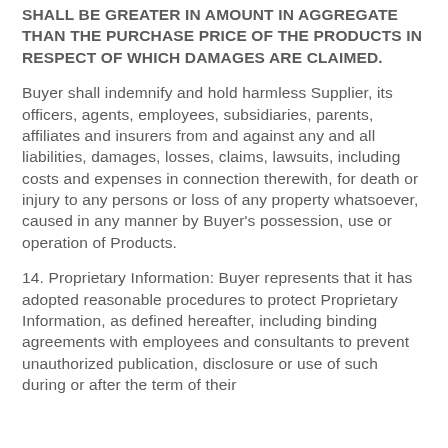SHALL BE GREATER IN AMOUNT IN AGGREGATE THAN THE PURCHASE PRICE OF THE PRODUCTS IN RESPECT OF WHICH DAMAGES ARE CLAIMED.
Buyer shall indemnify and hold harmless Supplier, its officers, agents, employees, subsidiaries, parents, affiliates and insurers from and against any and all liabilities, damages, losses, claims, lawsuits, including costs and expenses in connection therewith, for death or injury to any persons or loss of any property whatsoever, caused in any manner by Buyer's possession, use or operation of Products.
14. Proprietary Information: Buyer represents that it has adopted reasonable procedures to protect Proprietary Information, as defined hereafter, including binding agreements with employees and consultants to prevent unauthorized publication, disclosure or use of such during or after the term of their